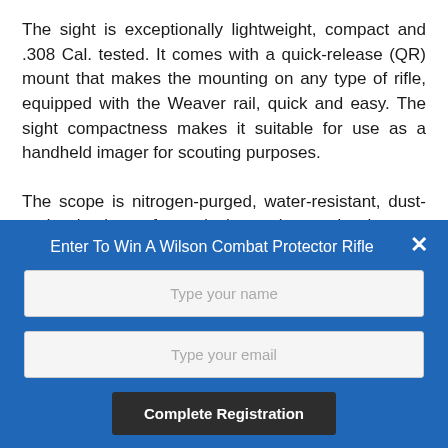The sight is exceptionally lightweight, compact and .308 Cal. tested. It comes with a quick-release (QR) mount that makes the mounting on any type of rifle, equipped with the Weaver rail, quick and easy. The sight compactness makes it suitable for use as a handheld imager for scouting purposes.
The scope is nitrogen-purged, water-resistant, dust- and shock-proof, and is action-ready in any environment or light conditions. SUPER HOGSTER
[Figure (screenshot): Blue modal overlay with title 'Enter To Win A Wilson Combat Protector Rifle', two input fields ('Type your name' and 'Type your email'), a 'Complete Registration' button, and a close (×) button in the top right corner.]